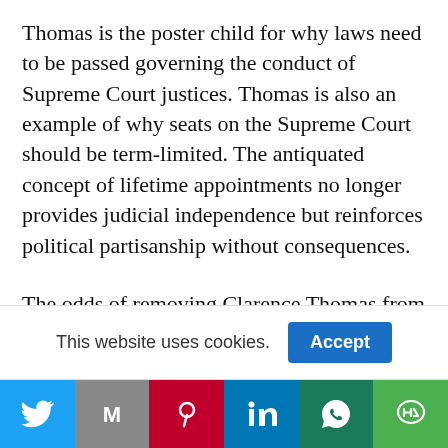Thomas is the poster child for why laws need to be passed governing the conduct of Supreme Court justices. Thomas is also an example of why seats on the Supreme Court should be term-limited. The antiquated concept of lifetime appointments no longer provides judicial independence but reinforces political partisanship without consequences.
The odds of removing Clarence Thomas from the High Court are zero, and it will not happen. The Justice is a 72-year-old diabetic, so his time on the [clipped]
This website uses cookies. Accept